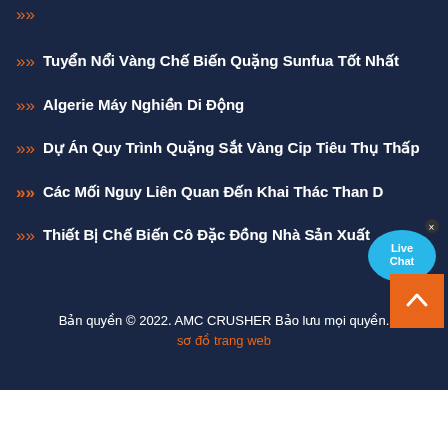Tuyển Nổi Vàng Chế Biến Quặng Sunfua Tốt Nhất
Algerie Máy Nghiền Di Động
Dự Án Quy Trình Quặng Sắt Vàng Cip Tiêu Thụ Thấp
Các Mối Nguy Liên Quan Đến Khai Thác Than Dưới Lòng Đất
Thiết Bị Chế Biến Cô Đặc Đồng Nhà Sản Xuất
Bản quyền © 2022. AMC CRUSHER Bảo lưu mọi quyền.
sơ đồ trang web